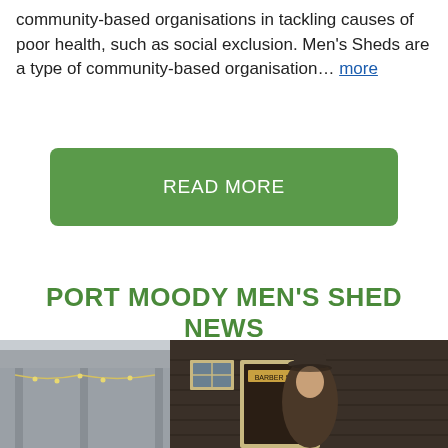community-based organisations in tackling causes of poor health, such as social exclusion. Men's Sheds are a type of community-based organisation… more
READ MORE
PORT MOODY MEN'S SHED NEWS
[Figure (photo): A person wearing a hat standing in front of a dark brown shed building with cream trim, a sign on the door, and string lights on a covered porch area to the left.]